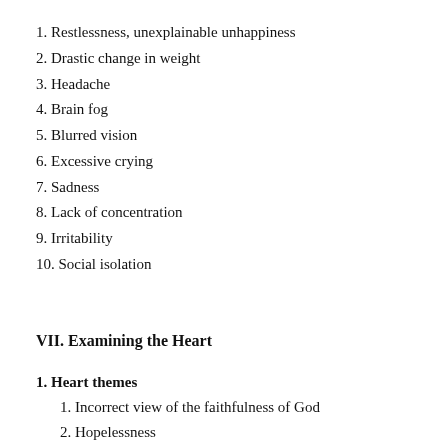1. Restlessness, unexplainable unhappiness
2. Drastic change in weight
3. Headache
4. Brain fog
5. Blurred vision
6. Excessive crying
7. Sadness
8. Lack of concentration
9. Irritability
10. Social isolation
VII. Examining the Heart
1. Heart themes
1. Incorrect view of the faithfulness of God
2. Hopelessness
3. Incorrect view of the sovereignty of God